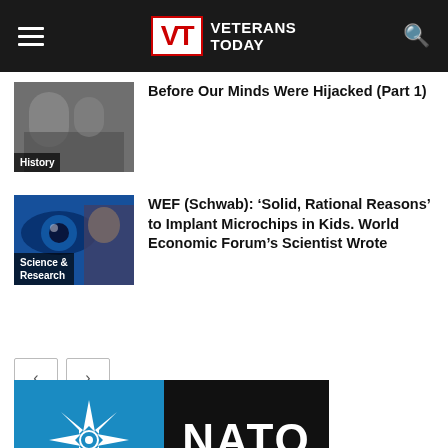Veterans Today
Before Our Minds Were Hijacked (Part 1)
WEF (Schwab): ‘Solid, Rational Reasons’ to Implant Microchips in Kids. World Economic Forum’s Scientist Wrote
[Figure (screenshot): Veterans Today website screenshot showing news articles and NATO logo image]